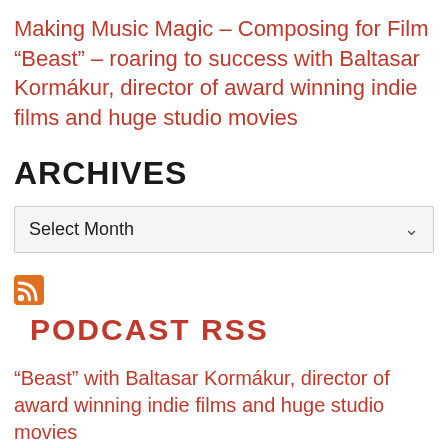Making Music Magic – Composing for Film “Beast” – roaring to success with Baltasar Kormákur, director of award winning indie films and huge studio movies
ARCHIVES
Select Month
[Figure (logo): RSS feed icon, orange square with white radio waves symbol]
PODCAST RSS
“Beast” with Baltasar Kormákur, director of award winning indie films and huge studio movies